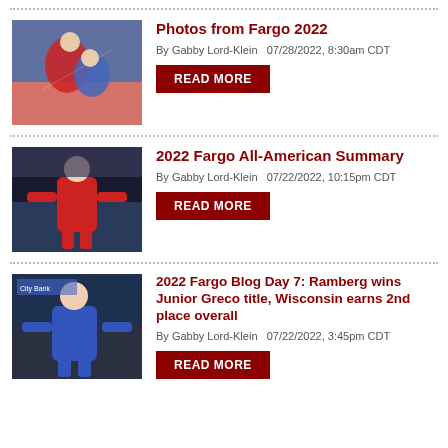Photos from Fargo 2022
By Gabby Lord-Klein   07/28/2022, 8:30am CDT
2022 Fargo All-American Summary
By Gabby Lord-Klein   07/22/2022, 10:15pm CDT
2022 Fargo Blog Day 7: Ramberg wins Junior Greco title, Wisconsin earns 2nd place overall
By Gabby Lord-Klein   07/22/2022, 3:45pm CDT